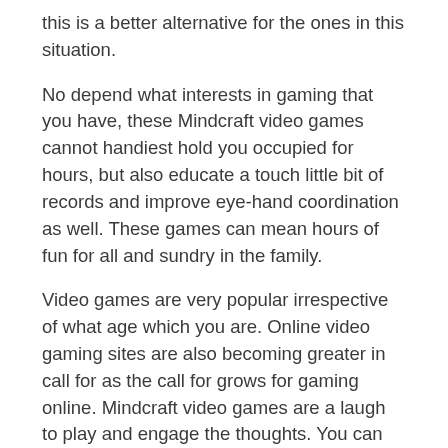this is a better alternative for the ones in this situation.
No depend what interests in gaming that you have, these Mindcraft video games cannot handiest hold you occupied for hours, but also educate a touch little bit of records and improve eye-hand coordination as well. These games can mean hours of fun for all and sundry in the family.
Video games are very popular irrespective of what age which you are. Online video gaming sites are also becoming greater in call for as the call for grows for gaming online. Mindcraft video games are a laugh to play and engage the thoughts. You can locate a laugh and desirable games right here. Some examples of this will be 3-d Swat, 2 D Knockout and 1942: Battles inside the Sky. These video games are only a small instance of what's available in this particular web site. With 36 categories to be had, there may be something